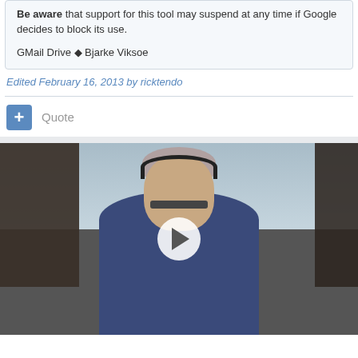Be aware that support for this tool may suspend at any time if Google decides to block its use.

GMail Drive ◆ Bjarke Viksoe
Edited February 16, 2013 by ricktendo
+ Quote
[Figure (photo): Video thumbnail showing a man wearing glasses and headphones, dressed in a navy blue sweater, seated indoors with a play button overlay in the center]